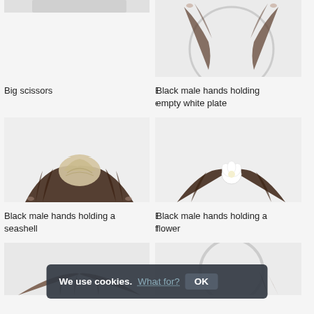[Figure (photo): Partial view of hands (top, cropped) - Big scissors]
Big scissors
[Figure (photo): Black male hands holding empty white plate (circular plate viewed from above)]
[Figure (photo): Black male hands holding a seashell]
Black male hands holding empty white plate
Black male hands holding a seashell
[Figure (photo): Black male hands holding a flower (white rose)]
[Figure (photo): Partial photo (bottom, cropped) - another image]
Black male hands holding a flower
[Figure (photo): Partial photo bottom right]
We use cookies. What for? OK